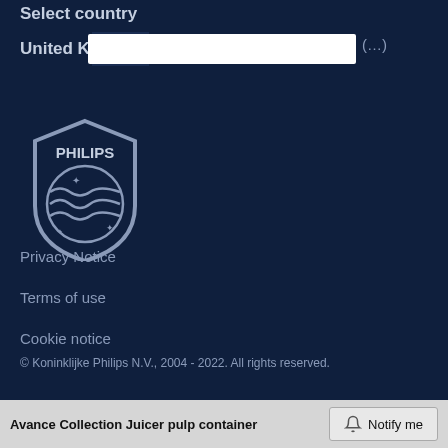Select country
United Kingdom (English)
[Figure (logo): Philips shield logo in grey/silver on dark navy background]
Privacy Notice
Terms of use
Cookie notice
© Koninklijke Philips N.V., 2004 - 2022. All rights reserved.
Avance Collection Juicer pulp container
Notify me